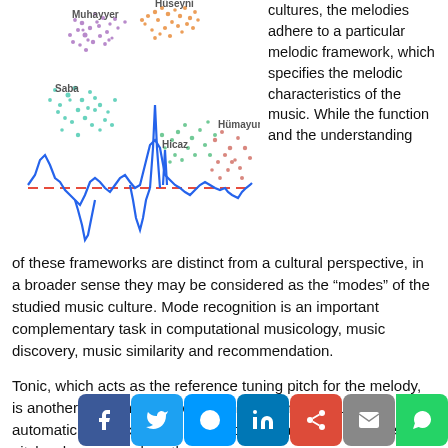[Figure (continuous-plot): Scatter plot showing clusters of musical modes (Muhayyer, Hüseyni, Saba, Hicaz, Hümayun) in different colors overlaid with a blue waveform/pitch contour and a red dashed baseline. The scatter clusters represent different makam/mode distributions.]
cultures, the melodies adhere to a particular melodic framework, which specifies the melodic characteristics of the music. While the function and the understanding of these frameworks are distinct from a cultural perspective, in a broader sense they may be considered as the "modes" of the studied music culture. Mode recognition is an important complementary task in computational musicology, music discovery, music similarity and recommendation.
Tonic, which acts as the reference tuning pitch for the melody, is another fundamental concept in many music traditions. Its automatic identification is relevant for establishing the reference pitch, when we analyse the